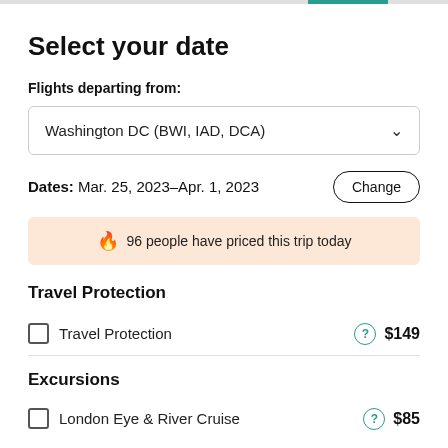Select your date
Flights departing from:
Washington DC (BWI, IAD, DCA)
Dates: Mar. 25, 2023–Apr. 1, 2023
Change
96 people have priced this trip today
Travel Protection
Travel Protection  $149
Excursions
London Eye & River Cruise  $85